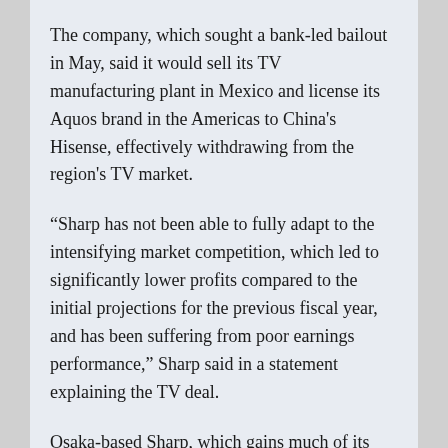The company, which sought a bank-led bailout in May, said it would sell its TV manufacturing plant in Mexico and license its Aquos brand in the Americas to China's Hisense, effectively withdrawing from the region's TV market.
“Sharp has not been able to fully adapt to the intensifying market competition, which led to significantly lower profits compared to the initial projections for the previous fiscal year, and has been suffering from poor earnings performance,” Sharp said in a statement explaining the TV deal.
Osaka-based Sharp, which gains much of its revenue from liquid crystal displays and TV sets, has focused on high-end screens to protect profit margins and avoid directly competing with cheaper Chinese and South